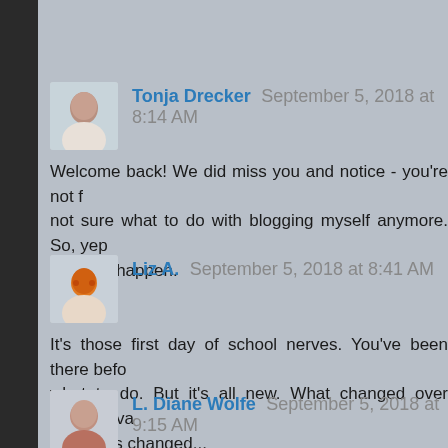Tonja Drecker September 5, 2018 at 8:14 AM
Welcome back! We did miss you and notice - you're not f... not sure what to do with blogging myself anymore. So, yep... and big) happen.
Reply
Liz A. September 5, 2018 at 8:41 AM
It's those first day of school nerves. You've been there befo... what to do. But it's all new. What changed over summer va... world has changed...
Good luck. Hopefully you'll find things more welcoming... anticipating.
Reply
L. Diane Wolfe September 5, 2018 at 9:15 AM
Everything has a season. Just jump back in and b...